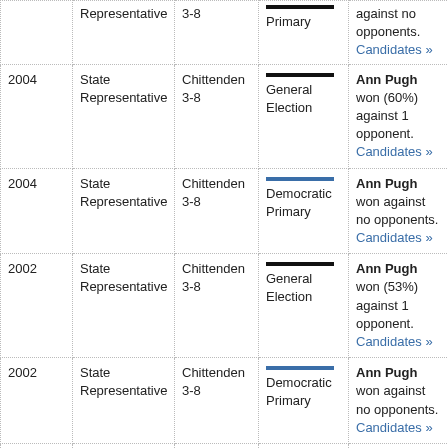| Year | Office | District | Election | Result |
| --- | --- | --- | --- | --- |
|  | State Representative | 3-8 | Primary | against no opponents. Candidates » |
| 2004 | State Representative | Chittenden 3-8 | General Election | Ann Pugh won (60%) against 1 opponent. Candidates » |
| 2004 | State Representative | Chittenden 3-8 | Democratic Primary | Ann Pugh won against no opponents. Candidates » |
| 2002 | State Representative | Chittenden 3-8 | General Election | Ann Pugh won (53%) against 1 opponent. Candidates » |
| 2002 | State Representative | Chittenden 3-8 | Democratic Primary | Ann Pugh won against no opponents. Candidates » |
| 2000 | State Representative | Chittenden 7-9 | General Election | Ann Pugh won (56%) against 2 opponents. Candidates » |
| 2000 | State | Chittenden | Democratic | Ann Pugh won |